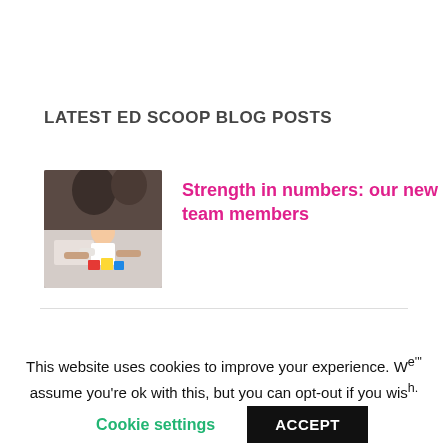LATEST ED SCOOP BLOG POSTS
[Figure (photo): Photo of a child playing with colorful building blocks on the floor, with adults nearby]
Strength in numbers: our new team members
This website uses cookies to improve your experience. We assume you're ok with this, but you can opt-out if you wish.
Cookie settings
ACCEPT